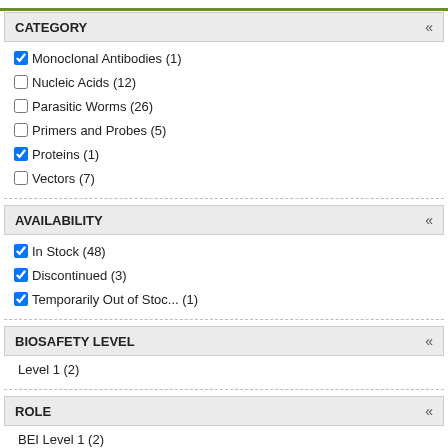CATEGORY
Monoclonal Antibodies (1) [checked]
Nucleic Acids (12) [unchecked]
Parasitic Worms (26) [unchecked]
Primers and Probes (5) [unchecked]
Proteins (1) [checked]
Vectors (7) [unchecked]
AVAILABILITY
In Stock (48) [checked]
Discontinued (3) [checked]
Temporarily Out of Stoc... (1) [checked]
BIOSAFETY LEVEL
Level 1 (2)
ROLE
BEI Level 1 (2)
ATTACHMENTS